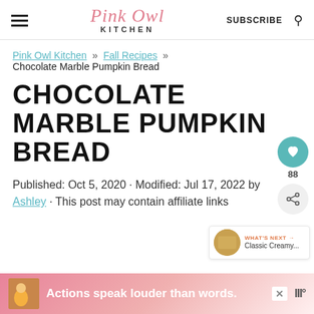Pink Owl Kitchen — SUBSCRIBE
Pink Owl Kitchen » Fall Recipes » Chocolate Marble Pumpkin Bread
CHOCOLATE MARBLE PUMPKIN BREAD
Published: Oct 5, 2020 · Modified: Jul 17, 2022 by Ashley · This post may contain affiliate links
[Figure (screenshot): Floating heart/save button showing count 88 and share icon]
[Figure (screenshot): What's Next panel showing Classic Creamy...]
[Figure (screenshot): Ad banner: Actions speak louder than words.]